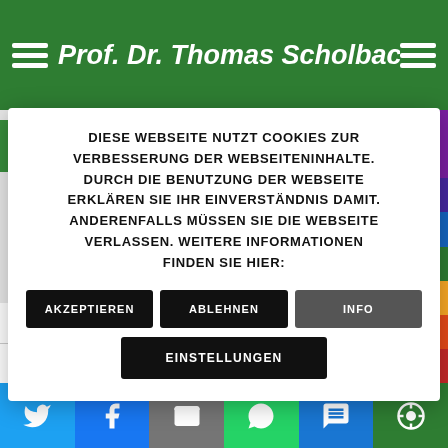Prof. Dr. Thomas Scholbach - functional
DIESE WEBSEITE NUTZT COOKIES ZUR VERBESSERUNG DER WEBSEITENINHALTE. DURCH DIE BENUTZUNG DER WEBSEITE ERKLÄREN SIE IHR EINVERSTÄNDNIS DAMIT. ANDERENFALLS MÜSSEN SIE DIE WEBSEITE VERLASSEN. WEITERE INFORMATIONEN FINDEN SIE HIER:
AKZEPTIEREN
ABLEHNEN
INFO
EINSTELLUNGEN